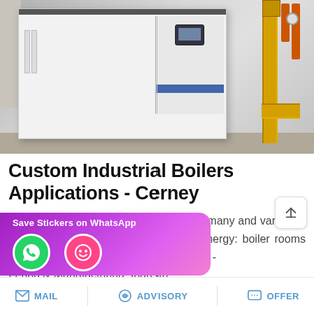[Figure (photo): Industrial boiler unit — large white rectangular machine with control panel installed in a facility room, with yellow/orange gas pipes on the right side.]
Custom Industrial Boilers Applications - Cerney
The applications of our products are as many and varied as the processes which call for thermal energy: boiler rooms and boiler skid. Cerney Industrial Boilers - Thermal Energy Engineering & Manufacturing. Industri…
[Figure (screenshot): WhatsApp save stickers banner overlay with purple/pink gradient background, showing WhatsApp phone icon and emoji icon.]
MAIL   ADVISORY   OFFER